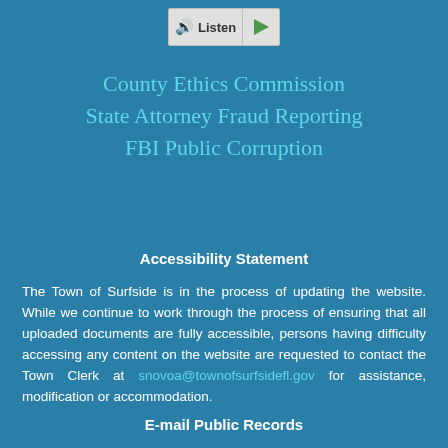[Figure (other): Audio listen button with speaker icon and play arrow]
County Ethics Commission
State Attorney Fraud Reporting
FBI Public Corruption
Accessibility Statement
The Town of Surfside is in the process of updating the website. While we continue to work through the process of ensuring that all uploaded documents are fully accessible, persons having difficulty accessing any content on the website are requested to contact the Town Clerk at snovoa@townofsurfsidefl.gov for assistance, modification or accommodation.
E-mail Public Records